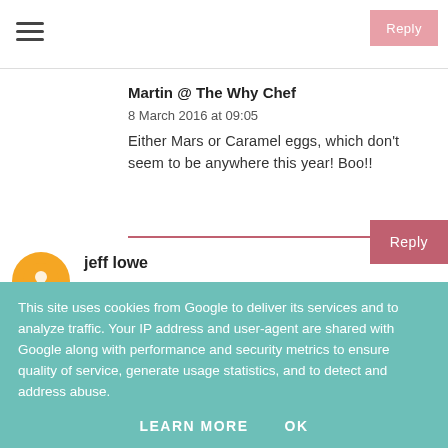Martin @ The Why Chef
8 March 2016 at 09:05
Either Mars or Caramel eggs, which don't seem to be anywhere this year! Boo!!
jeff lowe
8 March 2016 at 09:31
This site uses cookies from Google to deliver its services and to analyze traffic. Your IP address and user-agent are shared with Google along with performance and security metrics to ensure quality of service, generate usage statistics, and to detect and address abuse.
LEARN MORE   OK